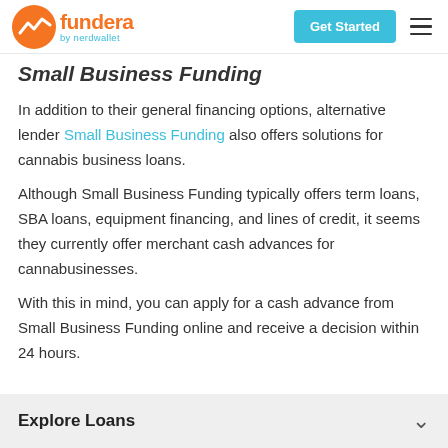Fundera by nerdwallet | Get Started
Small Business Funding
In addition to their general financing options, alternative lender Small Business Funding also offers solutions for cannabis business loans.
Although Small Business Funding typically offers term loans, SBA loans, equipment financing, and lines of credit, it seems they currently offer merchant cash advances for cannabusinesses.
With this in mind, you can apply for a cash advance from Small Business Funding online and receive a decision within 24 hours.
Explore Loans